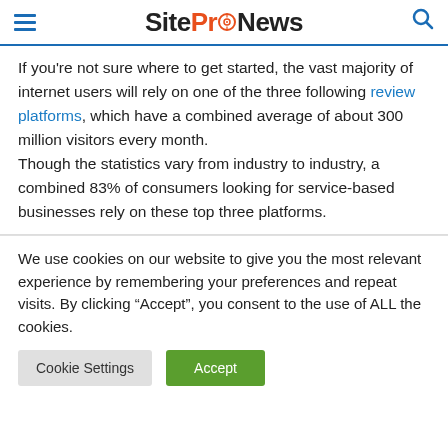SiteProNews
If you’re not sure where to get started, the vast majority of internet users will rely on one of the three following review platforms, which have a combined average of about 300 million visitors every month.
Though the statistics vary from industry to industry, a combined 83% of consumers looking for service-based businesses rely on these top three platforms.
We use cookies on our website to give you the most relevant experience by remembering your preferences and repeat visits. By clicking “Accept”, you consent to the use of ALL the cookies.